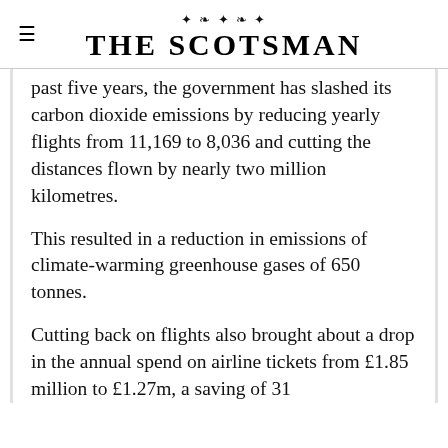THE SCOTSMAN
past five years, the government has slashed its carbon dioxide emissions by reducing yearly flights from 11,169 to 8,036 and cutting the distances flown by nearly two million kilometres.
This resulted in a reduction in emissions of climate-warming greenhouse gases of 650 tonnes.
Cutting back on flights also brought about a drop in the annual spend on airline tickets from £1.85 million to £1.27m, a saving of 31